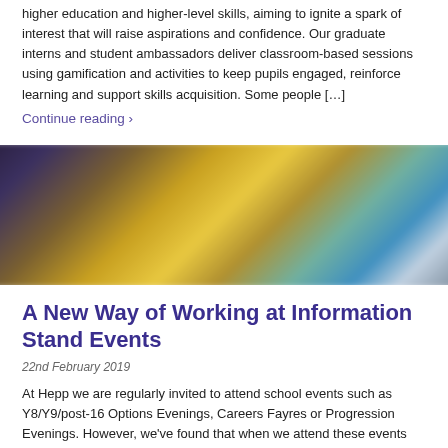higher education and higher-level skills, aiming to ignite a spark of interest that will raise aspirations and confidence. Our graduate interns and student ambassadors deliver classroom-based sessions using gamification and activities to keep pupils engaged, reinforce learning and support skills acquisition. Some people […]
Continue reading ›
[Figure (photo): A blurred photograph showing colorful objects on a table, including yellow and teal items, with a dark background.]
A New Way of Working at Information Stand Events
22nd February 2019
At Hepp we are regularly invited to attend school events such as Y8/Y9/post-16 Options Evenings, Careers Fayres or Progression Evenings. However, we've found that when we attend these events with just a static information stand, our impact is limited with the students who most need to hear our message.  If someone has already ruled out […]
Continue reading ›